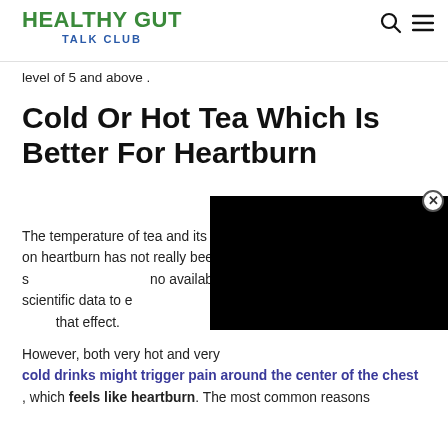HEALTHY GUT TALK CLUB
level of 5 and above .
Cold Or Hot Tea Which Is Better For Heartburn
The temperature of tea and its effect on heartburn has not really been studied, and there is no available scientific data to either confirm or deny that effect.
[Figure (other): Black video player overlay with close button]
However, both very hot and very cold drinks might trigger pain around the center of the chest , which feels like heartburn. The most common reasons